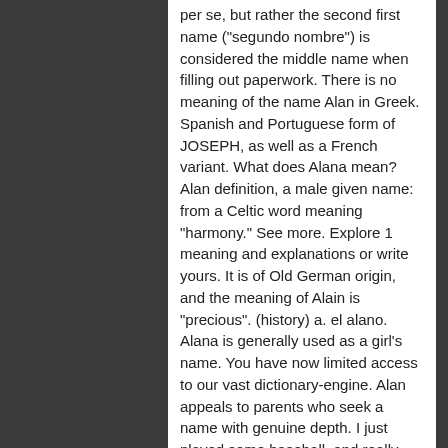per se, but rather the second first name ("segundo nombre") is considered the middle name when filling out paperwork. There is no meaning of the name Alan in Greek. Spanish and Portuguese form of JOSEPH, as well as a French variant. What does Alana mean? Alan definition, a male given name: from a Celtic word meaning "harmony." See more. Explore 1 meaning and explanations or write yours. It is of Old German origin, and the meaning of Alain is "precious". (history) a. el alano. Alana is generally used as a girl's name. You have now limited access to our vast dictionary-engine. Alan appeals to parents who seek a name with genuine depth. I just played some baseball, and really had an Alan time out there, and was just being a winner. Meaning of calan. The meaning of Alana is "rock, handsome". ), Enter feminine or plural Spanish nouns or adjectives. Alan. Enjoy it and make the best use of it! Using Spanish names helps to promote immersion in and appreciation for the new culture that you are trying to learn about, and gives you a chance to practice forming the sounds of the new language on a constant basis. The meaning of Alan is